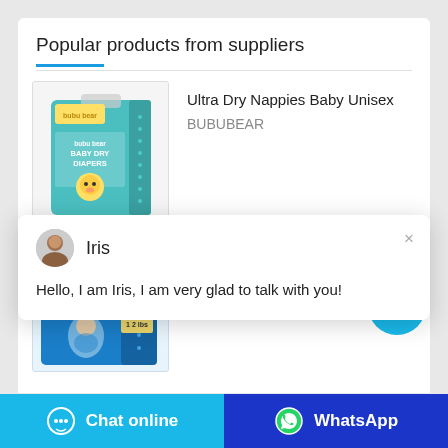Popular products from suppliers
[Figure (photo): Baby dry diapers product box (Bubu Bear brand, teal/green packaging with bear character)]
Ultra Dry Nappies Baby Unisex
BUBUBEAR
[Figure (photo): Chat popup with Iris avatar, name 'Iris', and message: Hello, I am Iris, I am very glad to talk with you!]
[Figure (photo): Mamaloves baby diapers product (blue packaging with baby image)]
MAMALOVES
1
Chat online
WhatsApp